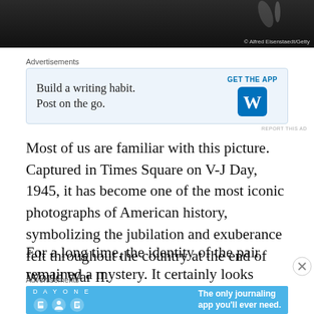[Figure (photo): Black and white photo strip at top of page, partial view]
© Alfred Eisenstaedt/Getty
Advertisements
[Figure (screenshot): Advertisement for WordPress app: 'Build a writing habit. Post on the go.' with GET THE APP button and WordPress logo]
REPORT THIS AD
Most of us are familiar with this picture. Captured in Times Square on V-J Day, 1945, it has become one of the most iconic photographs of American history, symbolizing the jubilation and exuberance felt throughout the country at the end of World War II.
For a long time, the identity of the pair remained a mystery. It certainly looks passionate and romantic
Advertisements
[Figure (screenshot): Advertisement for DayOne journaling app: 'The only journaling app you'll ever need.']